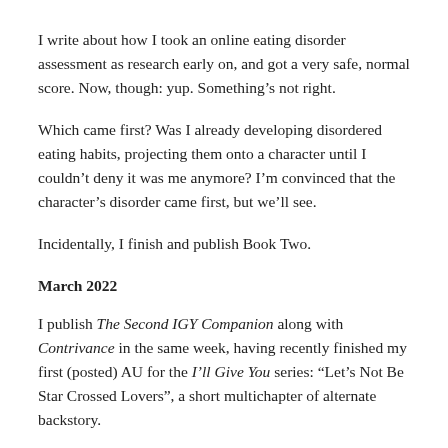I write about how I took an online eating disorder assessment as research early on, and got a very safe, normal score. Now, though: yup. Something's not right.
Which came first? Was I already developing disordered eating habits, projecting them onto a character until I couldn't deny it was me anymore? I'm convinced that the character's disorder came first, but we'll see.
Incidentally, I finish and publish Book Two.
March 2022
I publish The Second IGY Companion along with Contrivance in the same week, having recently finished my first (posted) AU for the I'll Give You series: “Let’s Not Be Star Crossed Lovers”, a short multichapter of alternate backstory.